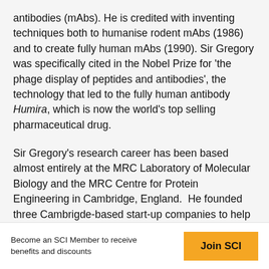antibodies (mAbs). He is credited with inventing techniques both to humanise rodent mAbs (1986) and to create fully human mAbs (1990). Sir Gregory was specifically cited in the Nobel Prize for 'the phage display of peptides and antibodies', the technology that led to the fully human antibody Humira, which is now the world's top selling pharmaceutical drug.
Sir Gregory's research career has been based almost entirely at the MRC Laboratory of Molecular Biology and the MRC Centre for Protein Engineering in Cambridge, England. He founded three Cambrigde-based start-up companies to help develop therapeutic drugs based on his discoveries.
Become an SCI Member to receive benefits and discounts